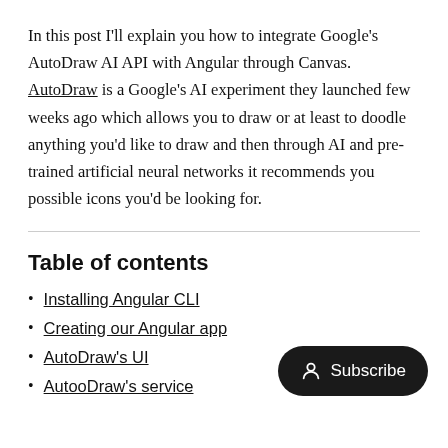In this post I'll explain you how to integrate Google's AutoDraw AI API with Angular through Canvas. AutoDraw is a Google's AI experiment they launched few weeks ago which allows you to draw or at least to doodle anything you'd like to draw and then through AI and pre-trained artificial neural networks it recommends you possible icons you'd be looking for.
Table of contents
Installing Angular CLI
Creating our Angular app
AutoDraw's UI
AutoDraw's service